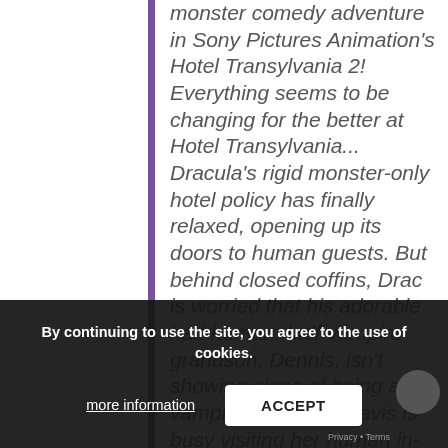monster comedy adventure in Sony Pictures Animation's Hotel Transylvania 2! Everything seems to be changing for the better at Hotel Transylvania... Dracula's rigid monster-only hotel policy has finally relaxed, opening up its doors to human guests. But behind closed coffins, Drac is worried that his adorable half-human, half-vampire grandson, Dennis, isn't showing signs of being a vampire. So while Mavis is busy visiting her human in-laws with Johnny – and in for a major cultural shock of her own – "Vampa" Drac enlists his friends Frank, Murray, Wayne and Griffin to put Dennis through a monstrous boot training camp... Little do they know that Drac's grumpy and very old, old, old school dad Vlad is
By continuing to use the site, you agree to the use of cookies.
more information
ACCEPT